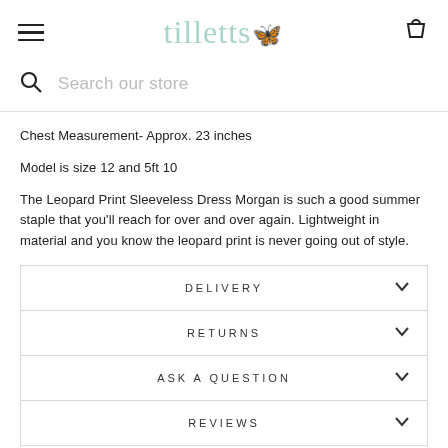tilletts
Chest Measurement- Approx. 23 inches
Model is size 12 and 5ft 10
The Leopard Print Sleeveless Dress Morgan is such a good summer staple that you'll reach for over and over again. Lightweight in material and you know the leopard print is never going out of style.
DELIVERY
RETURNS
ASK A QUESTION
REVIEWS